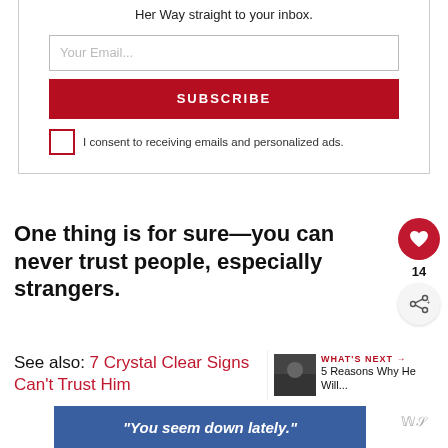Her Way straight to your inbox.
Your Email...
SUBSCRIBE
I consent to receiving emails and personalized ads.
One thing is for sure—you can never trust people, especially strangers.
14
See also: 7 Crystal Clear Signs Can't Trust Him
WHAT'S NEXT → 5 Reasons Why He Will...
"You seem down lately."